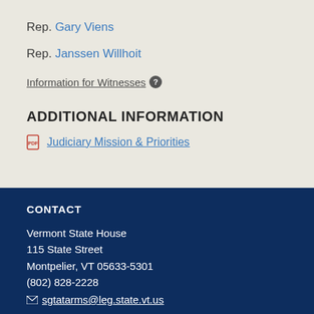Rep. Gary Viens
Rep. Janssen Willhoit
Information for Witnesses
ADDITIONAL INFORMATION
Judiciary Mission & Priorities
CONTACT
Vermont State House
115 State Street
Montpelier, VT 05633-5301
(802) 828-2228
sgtatarms@leg.state.vt.us